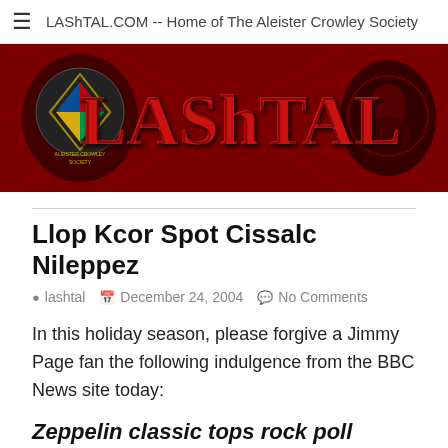LAShTAL.COM -- Home of The Aleister Crowley Society
[Figure (illustration): LAShTAL banner with red background, decorative diamond patterns, logo on left, portrait on right, large red text 'LAShTAL' in center]
Llop Kcor Spot Cissalc Nileppez
lashtal   December 24, 2004   No Comments
In this holiday season, please forgive a Jimmy Page fan the following indulgence from the BBC News site today:
Zeppelin classic tops rock poll